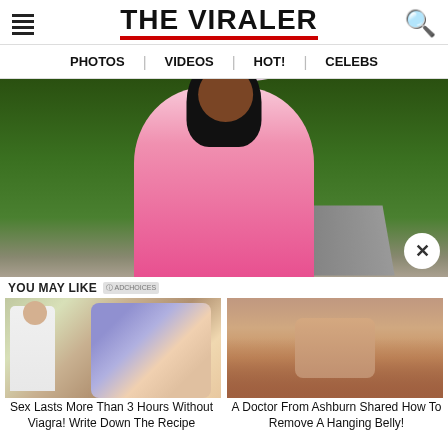THE VIRALER
PHOTOS | VIDEOS | HOT! | CELEBS
[Figure (photo): Young woman in pink crop top and white hat outdoors in a park setting]
YOU MAY LIKE
[Figure (photo): Ad thumbnail: doctor and cartoon illustration of couple]
[Figure (photo): Ad thumbnail: close-up of a person's stomach/belly]
Sex Lasts More Than 3 Hours Without Viagra! Write Down The Recipe
A Doctor From Ashburn Shared How To Remove A Hanging Belly!